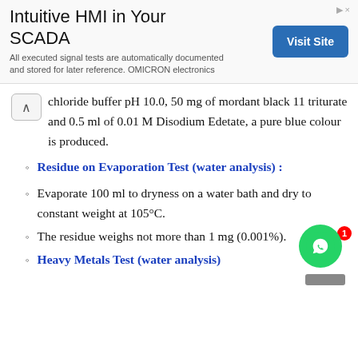[Figure (other): Advertisement banner for 'Intuitive HMI in Your SCADA' by OMICRON electronics with a 'Visit Site' button]
chloride buffer pH 10.0, 50 mg of mordant black 11 triturate and 0.5 ml of 0.01 M Disodium Edetate, a pure blue colour is produced.
Residue on Evaporation Test (water analysis) :
Evaporate 100 ml to dryness on a water bath and dry to constant weight at 105°C.
The residue weighs not more than 1 mg (0.001%).
Heavy Metals Test (water analysis):